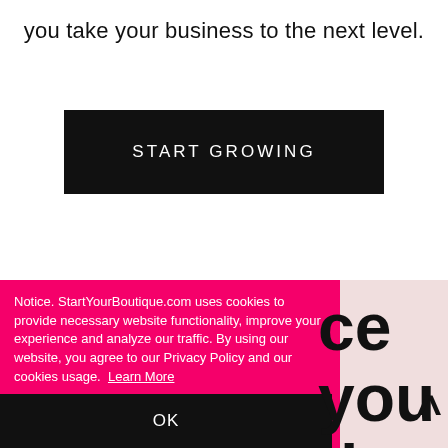you take your business to the next level.
START GROWING
Notice. StartYourBoutique.com uses cookies to provide necessary website functionality, improve your experience and analyze our traffic. By using our website, you agree to our Privacy Policy and our cookies usage.  Learn More
OK
ce you d grow ique —